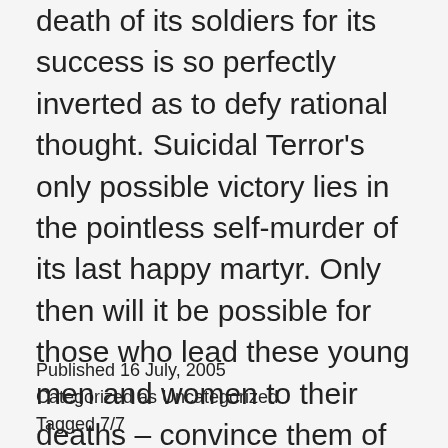death of its soldiers for its success is so perfectly inverted as to defy rational thought. Suicidal Terror's only possible victory lies in the pointless self-murder of its last happy martyr. Only then will it be possible for those who lead these young men and women to their deaths – convince them of their destiny – to calculate the magnitude of their victory. The question is: what will they do if they conclude that they didn't win yet? That they need more martyrs?
Published 16 July, 2005
Categorized as Uncategorized
Tagged 7/7